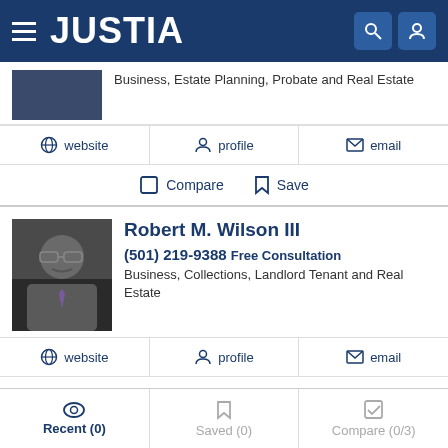JUSTIA
Business, Estate Planning, Probate and Real Estate
website  profile  email
Compare  Save
Robert M. Wilson III
(501) 219-9388 Free Consultation
Business, Collections, Landlord Tenant and Real Estate
website  profile  email
Compare  Save
Recent (0)  Saved (0)  Compare (0/3)